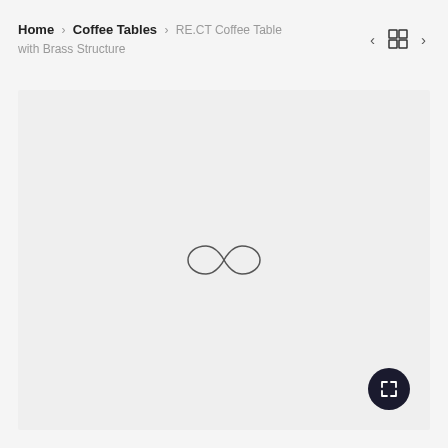Home > Coffee Tables > RE.CT Coffee Table with Brass Structure
[Figure (screenshot): Loading spinner (infinity loop icon) centered in a light gray image placeholder area, with a dark circular expand/fullscreen button in the bottom right corner.]